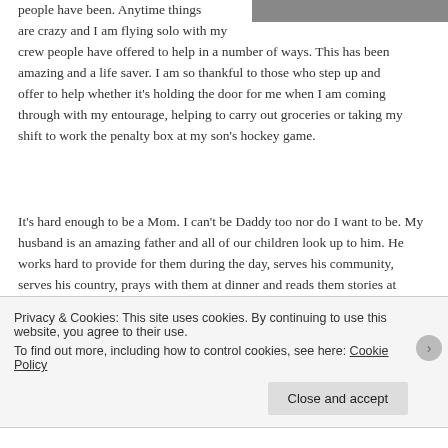[Figure (photo): A partial photo visible in the top-right area of the page, showing a dark/muted image.]
people have been. Anytime things are crazy and I am flying solo with my crew people have offered to help in a number of ways. This has been amazing and a life saver. I am so thankful to those who step up and offer to help whether it's holding the door for me when I am coming through with my entourage, helping to carry out groceries or taking my shift to work the penalty box at my son's hockey game.
It's hard enough to be a Mom. I can't be Daddy too nor do I want to be. My husband is an amazing father and all of our children look up to him. He works hard to provide for them during the day, serves his community, serves his country, prays with them at dinner and reads them stories at night.
He is a good Dad, a good soldier and a great man. I miss him terribly when he is gone but am proud of him for serving and thankful that there
Privacy & Cookies: This site uses cookies. By continuing to use this website, you agree to their use.
To find out more, including how to control cookies, see here: Cookie Policy
Close and accept